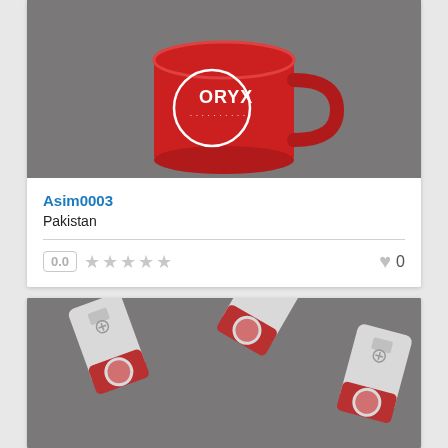[Figure (photo): Red coffee mug with ORYX logo on a dark gray background]
Asim0003
Pakistan
0.0  ★★★★★  ♥ 0
[Figure (photo): Three red and white USB flash drives arranged on a dark gray background]